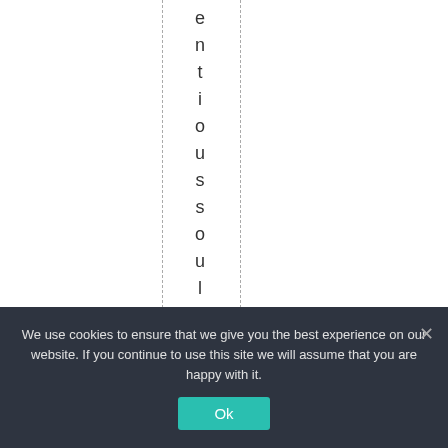e n t i o u s s o u l s w o n ' t s
We use cookies to ensure that we give you the best experience on our website. If you continue to use this site we will assume that you are happy with it. Ok